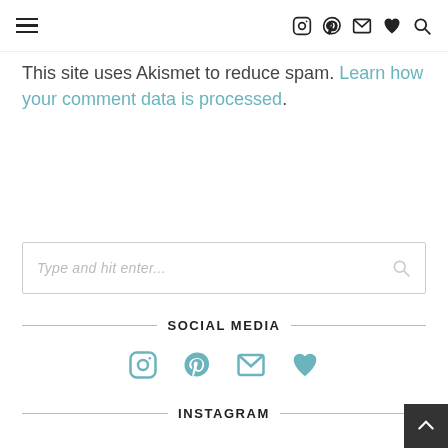[Navigation bar with hamburger menu and icons: Instagram, Pinterest, Email, Heart, Search]
This site uses Akismet to reduce spam. Learn how your comment data is processed.
[Figure (other): Search input box with placeholder text 'Type and hit enter...' and search icon]
SOCIAL MEDIA
[Figure (other): Social media icons row: Instagram, Pinterest, Email, Heart — in teal/cyan color]
INSTAGRAM